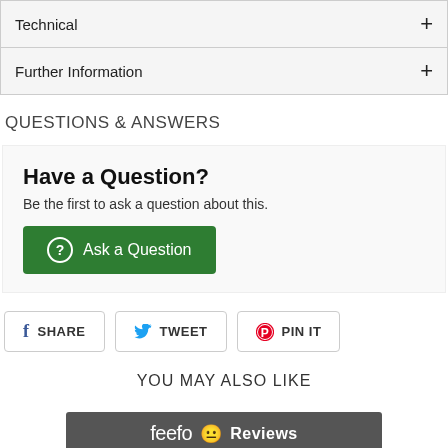Technical +
Further Information +
QUESTIONS & ANSWERS
Have a Question?
Be the first to ask a question about this.
Ask a Question
SHARE  TWEET  PIN IT
YOU MAY ALSO LIKE
[Figure (logo): Feefo Reviews logo on dark grey background with emoji eyes]